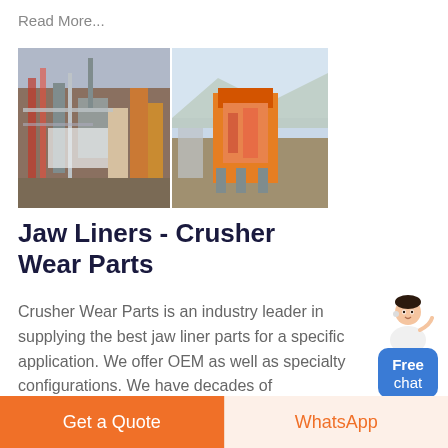Read More...
[Figure (photo): Two industrial crusher/mining equipment photos side by side: left shows a large industrial plant with pipes and machinery, right shows an orange jaw crusher on a hillside.]
Jaw Liners - Crusher Wear Parts
Crusher Wear Parts is an industry leader in supplying the best jaw liner parts for a specific application. We offer OEM as well as specialty configurations. We have decades of experience in supplying wear parts
[Figure (illustration): Chat widget: person avatar above a blue rounded button labeled 'Free chat']